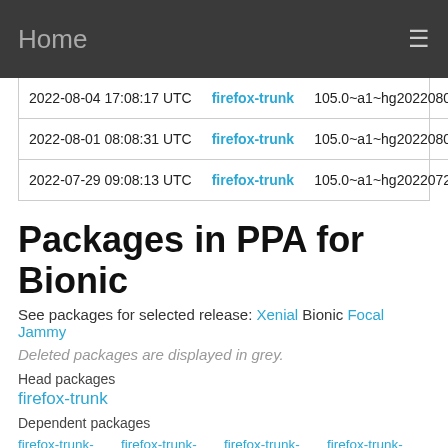Home
| Date | Channel | Version |
| --- | --- | --- |
| 2022-08-04 17:08:17 UTC | firefox-trunk | 105.0~a1~hg20220804 |
| 2022-08-01 08:08:31 UTC | firefox-trunk | 105.0~a1~hg20220801 |
| 2022-07-29 09:08:13 UTC | firefox-trunk | 105.0~a1~hg20220729 |
Packages in PPA for Bionic
See packages for selected release: Xenial  Bionic  Focal  Jammy
Deleted packages are displayed in grey.
Head packages
firefox-trunk
Dependent packages
firefox-trunk-locale-mai  firefox-trunk-locale-ne  firefox-trunk-locale-pt  firefox-trunk-locale-sr  firefox-trunk-  firefox-trunk-  firefox-trunk-  firefox-trunk-